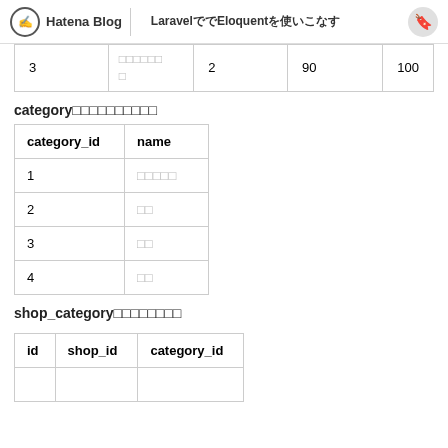Hatena Blog | LaravelでEloquentを使いこなす
| 3 | □□□□□□
□ | 2 | 90 | 100 |
category□□□□□□□□□□
| category_id | name |
| --- | --- |
| 1 | □□□□□ |
| 2 | □□ |
| 3 | □□ |
| 4 | □□ |
shop_category□□□□□□□□
| id | shop_id | category_id |
| --- | --- | --- |